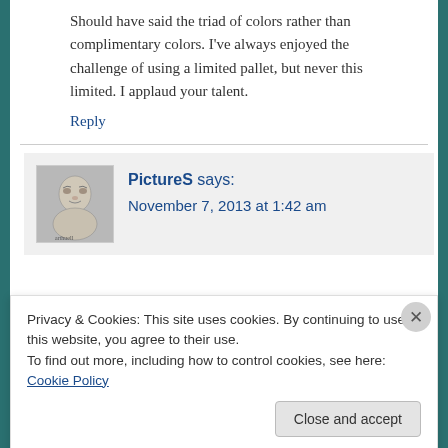Should have said the triad of colors rather than complimentary colors. I've always enjoyed the challenge of using a limited pallet, but never this limited. I applaud your talent.
Reply
PictureS says:
November 7, 2013 at 1:42 am
Privacy & Cookies: This site uses cookies. By continuing to use this website, you agree to their use.
To find out more, including how to control cookies, see here: Cookie Policy
Close and accept